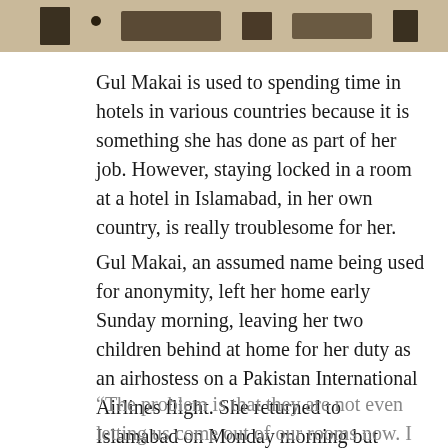[Figure (photo): Partial photo strip at the top of the page showing blurred outdoor scene with dark shapes/objects against a light background]
Gul Makai is used to spending time in hotels in various countries because it is something she has done as part of her job. However, staying locked in a room at a hotel in Islamabad, in her own country, is really troublesome for her.
Gul Makai, an assumed name being used for anonymity, left her home early Sunday morning, leaving her two children behind at home for her duty as an airhostess on a Pakistan International Airlines flight. She returned to Islamabad on Monday morning but instead of going home, all the airline staff was taken to a hotel and quarantined.
“The problem is that they are not even letting us come out of our rooms now. I would have to stay...